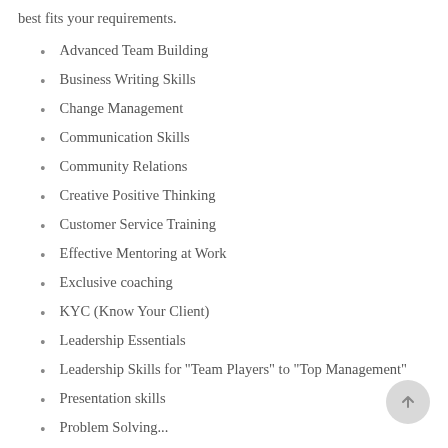best fits your requirements.
Advanced Team Building
Business Writing Skills
Change Management
Communication Skills
Community Relations
Creative Positive Thinking
Customer Service Training
Effective Mentoring at Work
Exclusive coaching
KYC (Know Your Client)
Leadership Essentials
Leadership Skills for "Team Players" to "Top Management"
Presentation skills
Problem Solving...